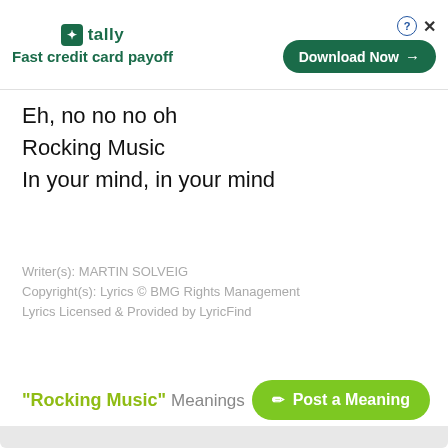[Figure (other): Tally app advertisement banner with logo, tagline 'Fast credit card payoff', and 'Download Now' button with close and help icons]
Eh, no no no oh
Rocking Music
In your mind, in your mind
Writer(s): MARTIN SOLVEIG
Copyright(s): Lyrics © BMG Rights Management
Lyrics Licensed & Provided by LyricFind
"Rocking Music" Meanings
Post a Meaning